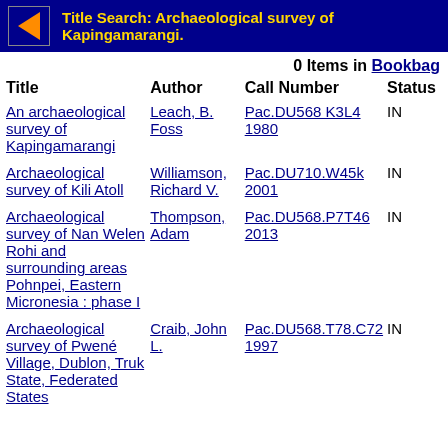Title Search: Archaeological survey of Kapingamarangi.
0 Items in Bookbag
| Title | Author | Call Number | Status |
| --- | --- | --- | --- |
| An archaeological survey of Kapingamarangi | Leach, B. Foss | Pac.DU568 K3L4 1980 | IN |
| Archaeological survey of Kili Atoll | Williamson, Richard V. | Pac.DU710.W45k 2001 | IN |
| Archaeological survey of Nan Welen Rohi and surrounding areas Pohnpei, Eastern Micronesia : phase I | Thompson, Adam | Pac.DU568.P7T46 2013 | IN |
| Archaeological survey of Pwené Village, Dublon, Truk State, Federated States | Craib, John L. | Pac.DU568.T78.C72 1997 | IN |